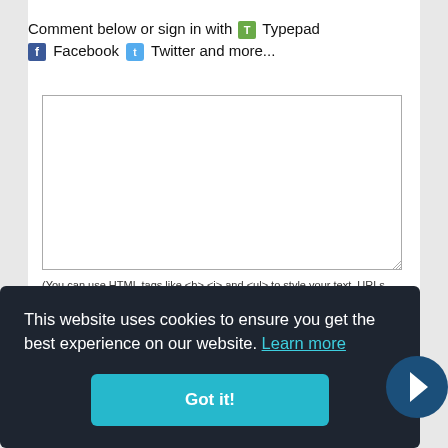Comment below or sign in with Typepad Facebook Twitter and more...
[Figure (other): Text input textarea box for entering a comment]
(You can use HTML tags like <b> <i> and <ul> to style your text. URLs automatically linked.)
This website uses cookies to ensure you get the best experience on our website. Learn more
Got it!